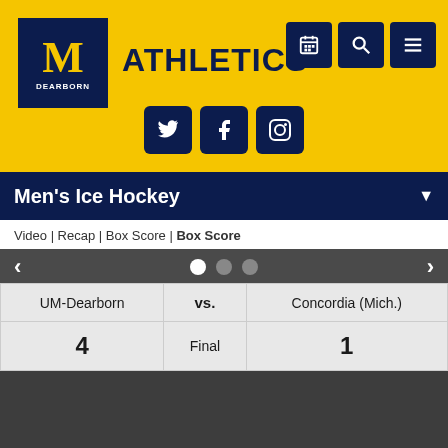[Figure (logo): University of Michigan Dearborn Athletics logo with block M and DEARBORN text, plus ATHLETICS wordmark]
Video | Recap | Box Score | Box Score
| Team | vs. | Team |
| --- | --- | --- |
| UM-Dearborn | vs. | Concordia (Mich.) |
| 4 | Final | 1 |
SCORING